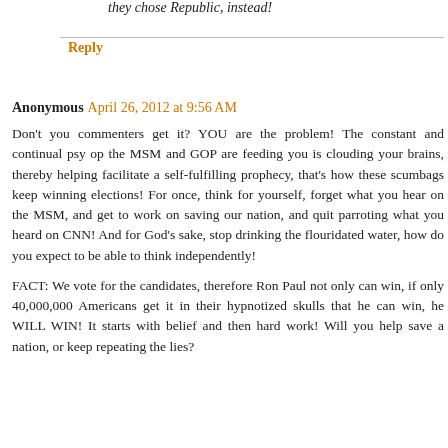they chose Republic, instead!
Reply
Anonymous April 26, 2012 at 9:56 AM
Don't you commenters get it? YOU are the problem! The constant and continual psy op the MSM and GOP are feeding you is clouding your brains, thereby helping facilitate a self-fulfilling prophecy, that's how these scumbags keep winning elections! For once, think for yourself, forget what you hear on the MSM, and get to work on saving our nation, and quit parroting what you heard on CNN! And for God's sake, stop drinking the flouridated water, how do you expect to be able to think independently!

FACT: We vote for the candidates, therefore Ron Paul not only can win, if only 40,000,000 Americans get it in their hypnotized skulls that he can win, he WILL WIN! It starts with belief and then hard work! Will you help save a nation, or keep repeating the lies?